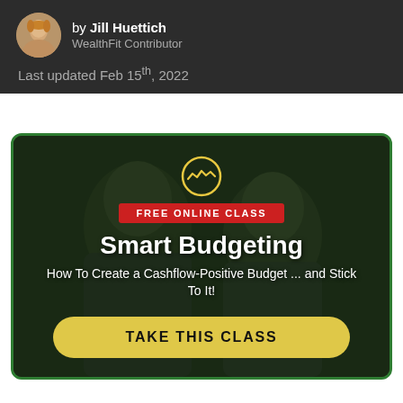by Jill Huettich
WealthFit Contributor
Last updated Feb 15th, 2022
[Figure (illustration): Promotional card for a free online class titled 'Smart Budgeting: How To Create a Cashflow-Positive Budget ... and Stick To It!' with a WealthFit logo, red FREE ONLINE CLASS badge, and a yellow TAKE THIS CLASS button. Background shows two smiling people.]